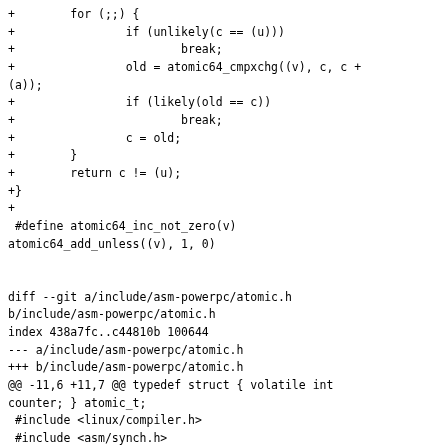+        for (;;) {
+                if (unlikely(c == (u)))
+                        break;
+                old = atomic64_cmpxchg((v), c, c +
(a));
+                if (likely(old == c))
+                        break;
+                c = old;
+        }
+        return c != (u);
+}
+
 #define atomic64_inc_not_zero(v)
atomic64_add_unless((v), 1, 0)


diff --git a/include/asm-powerpc/atomic.h
b/include/asm-powerpc/atomic.h
index 438a7fc..c44810b 100644
--- a/include/asm-powerpc/atomic.h
+++ b/include/asm-powerpc/atomic.h
@@ -11,6 +11,7 @@ typedef struct { volatile int
counter; } atomic_t;
 #include <linux/compiler.h>
 #include <asm/synch.h>
 #include <asm/asm-compat.h>
+#include <asm/system.h>

 #define ATOMIC_INIT(i)       { (i) }